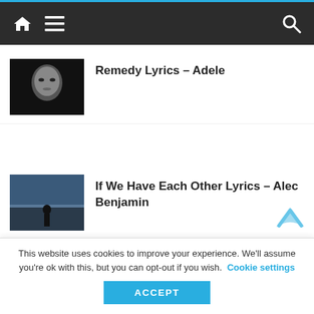Navigation bar with home, menu, and search icons
Remedy Lyrics – Adele
If We Have Each Other Lyrics – Alec Benjamin
Sounds Like A Melody Lyrics – Alphaville
This website uses cookies to improve your experience. We'll assume you're ok with this, but you can opt-out if you wish. Cookie settings ACCEPT